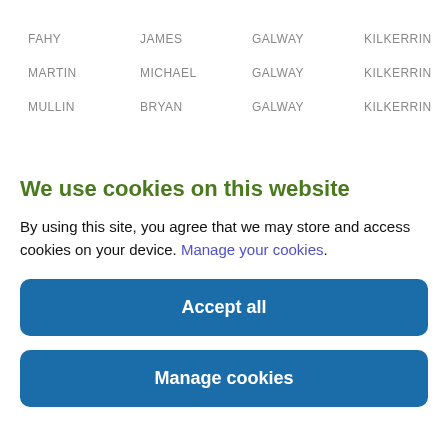| FAHY | JAMES | GALWAY | KILKERRIN |
| MARTIN | MICHAEL | GALWAY | KILKERRIN |
| MULLIN | BRYAN | GALWAY | KILKERRIN |
We use cookies on this website
By using this site, you agree that we may store and access cookies on your device. Manage your cookies.
Accept all
Manage cookies